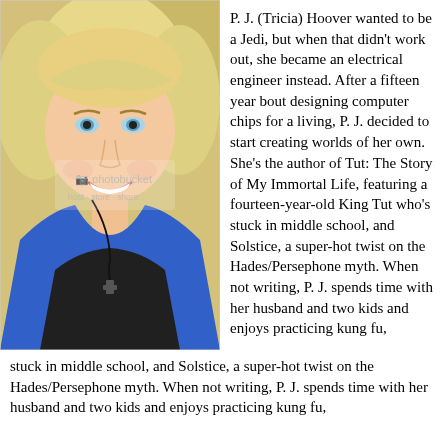[Figure (photo): Photograph of P.J. (Tricia) Hoover, a blonde woman smiling, wearing a blue tank top and black shirt with a cross necklace, photographed against a yellow wall. A Photobucket watermark is visible on the image.]
P. J. (Tricia) Hoover wanted to be a Jedi, but when that didn't work out, she became an electrical engineer instead. After a fifteen year bout designing computer chips for a living, P. J. decided to start creating worlds of her own. She's the author of Tut: The Story of My Immortal Life, featuring a fourteen-year-old King Tut who's stuck in middle school, and Solstice, a super-hot twist on the Hades/Persephone myth. When not writing, P. J. spends time with her husband and two kids and enjoys practicing kung fu,